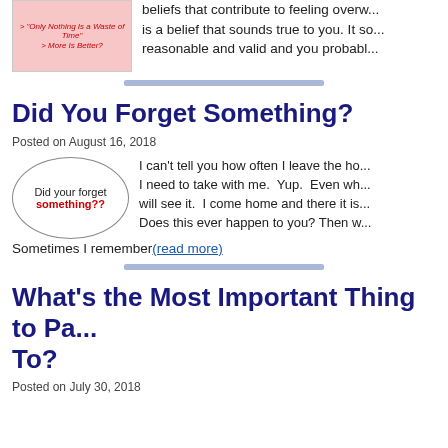[Figure (illustration): Pink book cover image with red italic text and dark blue italic bold text]
beliefs that contribute to feeling overw... is a belief that sounds true to you. It so... reasonable and valid and you probabl...
[Figure (illustration): Oval/ellipse shape with text 'Did your forget something??']
Did You Forget Something?
Posted on August 16, 2018
I can't tell you how often I leave the ho... I need to take with me. Yup. Even wh... will see it. I come home and there it is... Does this ever happen to you? Then w... Sometimes I remember(read more)
What's the Most Important Thing to Pa... To?
Posted on July 30, 2018